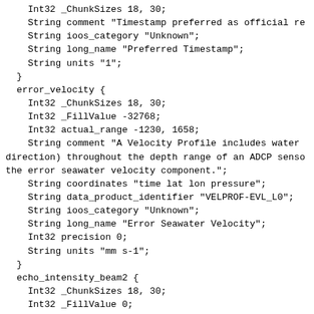Int32 _ChunkSizes 18, 30;
    String comment "Timestamp preferred as official re
    String ioos_category "Unknown";
    String long_name "Preferred Timestamp";
    String units "1";
  }
  error_velocity {
    Int32 _ChunkSizes 18, 30;
    Int32 _FillValue -32768;
    Int32 actual_range -1230, 1658;
    String comment "A Velocity Profile includes water
direction) throughout the depth range of an ADCP senso
the error seawater velocity component.";
    String coordinates "time lat lon pressure";
    String data_product_identifier "VELPROF-EVL_L0";
    String ioos_category "Unknown";
    String long_name "Error Seawater Velocity";
    Int32 precision 0;
    String units "mm s-1";
  }
  echo_intensity_beam2 {
    Int32 _ChunkSizes 18, 30;
    Int32 _FillValue 0;
    String _Unsigned "true";
    Int32 actual_range -128, 126;
    String comment "Echo Intensity Measurement is the